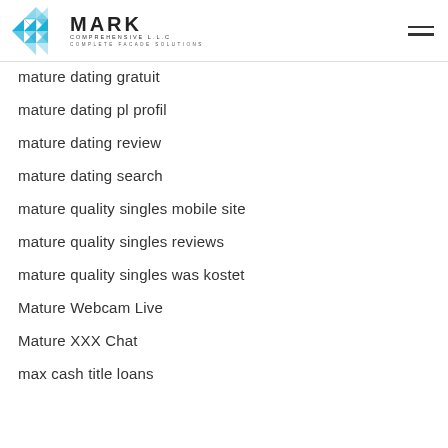MARK COMPREHENSIVE L.L.C — COMPLETE FACADE SOLUTIONS
mature dating gratuit
mature dating pl profil
mature dating review
mature dating search
mature quality singles mobile site
mature quality singles reviews
mature quality singles was kostet
Mature Webcam Live
Mature XXX Chat
max cash title loans